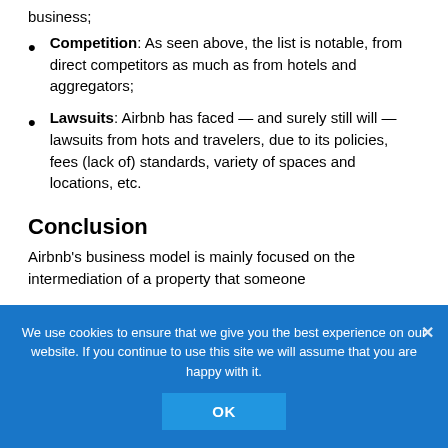business;
Competition: As seen above, the list is notable, from direct competitors as much as from hotels and aggregators;
Lawsuits: Airbnb has faced — and surely still will — lawsuits from hots and travelers, due to its policies, fees (lack of) standards, variety of spaces and locations, etc.
Conclusion
Airbnb's business model is mainly focused on the intermediation of a property that someone
We use cookies to ensure that we give you the best experience on our website. If you continue to use this site we will assume that you are happy with it.